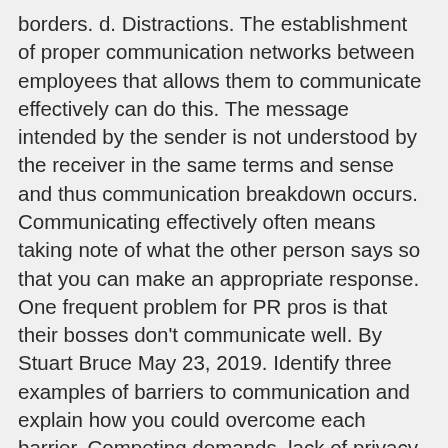borders. d. Distractions. The establishment of proper communication networks between employees that allows them to communicate effectively can do this. The message intended by the sender is not understood by the receiver in the same terms and sense and thus communication breakdown occurs. Communicating effectively often means taking note of what the other person says so that you can make an appropriate response. One frequent problem for PR pros is that their bosses don't communicate well. By Stuart Bruce May 23, 2019. Identify three examples of barriers to communication and explain how you could overcome each barrier. Competing demands, lack of privacy, and background noise are all potential barriers to effective communication between nurses and patients. SHARE. Language barriers.